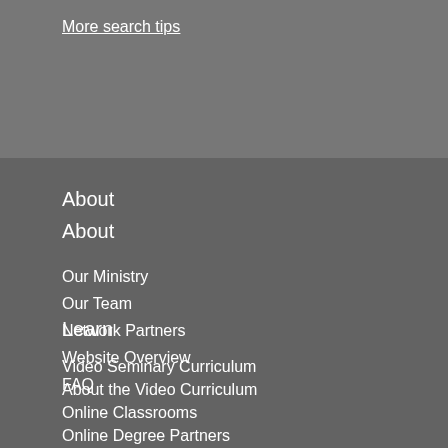More search tips
About
Our Ministry
Our Team
Network Partners
Website Overview
FAQ
Learn
Video Seminary Curriculum
About the Video Curriculum
Online Classrooms
Online Degree Partners
Study at Home